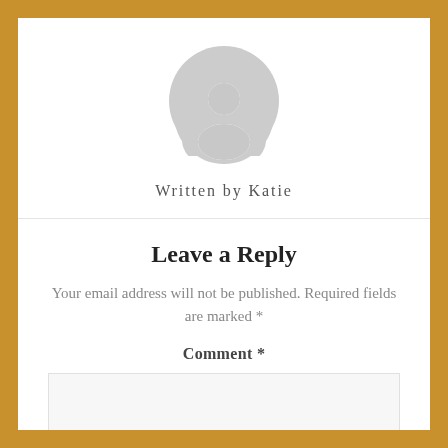[Figure (illustration): Gray circular avatar/profile placeholder icon showing a silhouette of a person's head and shoulders]
Written by Katie
Leave a Reply
Your email address will not be published. Required fields are marked *
Comment *